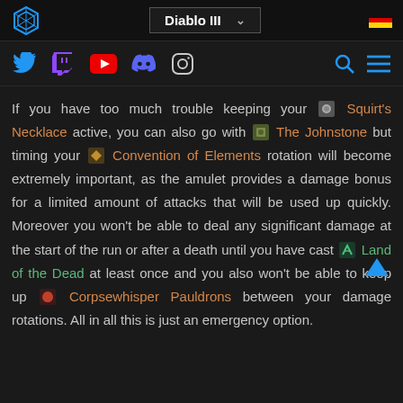Diablo III
If you have too much trouble keeping your Squirt's Necklace active, you can also go with The Johnstone but timing your Convention of Elements rotation will become extremely important, as the amulet provides a damage bonus for a limited amount of attacks that will be used up quickly. Moreover you won't be able to deal any significant damage at the start of the run or after a death until you have cast Land of the Dead at least once and you also won't be able to keep up Corpsewhisper Pauldrons between your damage rotations. All in all this is just an emergency option.